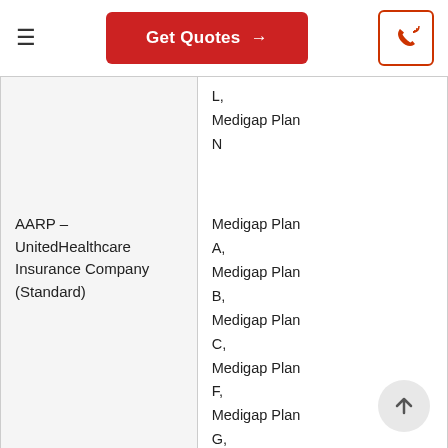Get Quotes →
| Company | Plans Available |
| --- | --- |
|  | L, Medigap Plan N |
| AARP – UnitedHealthcare Insurance Company (Standard) | Medigap Plan A, Medigap Plan B, Medigap Plan C, Medigap Plan F, Medigap Plan G, Medigap Plan K, Medigap Plan L, |